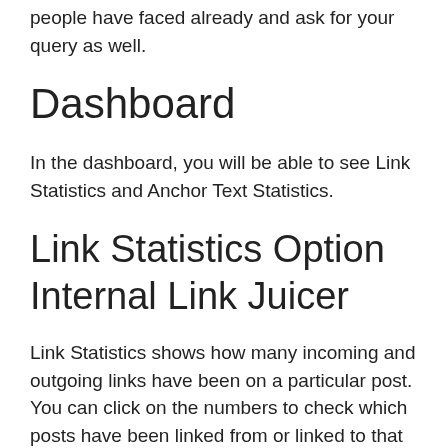people have faced already and ask for your query as well.
Dashboard
In the dashboard, you will be able to see Link Statistics and Anchor Text Statistics.
Link Statistics Option Internal Link Juicer
Link Statistics shows how many incoming and outgoing links have been on a particular post. You can click on the numbers to check which posts have been linked from or linked to that post. You can